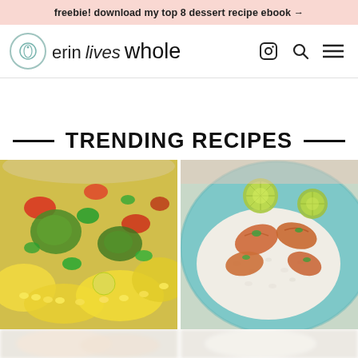freebie! download my top 8 dessert recipe ebook →
[Figure (logo): Erin Lives Whole website logo with circular icon and text]
TRENDING RECIPES
[Figure (photo): Close-up of a colorful corn, avocado, red pepper and cilantro salad in a bowl]
[Figure (photo): Grilled shrimp served on rice with lime slices on a teal/turquoise plate]
[Figure (photo): Partial view of a light colored dish, blurred]
[Figure (photo): Partial view of a creamy dish, blurred]